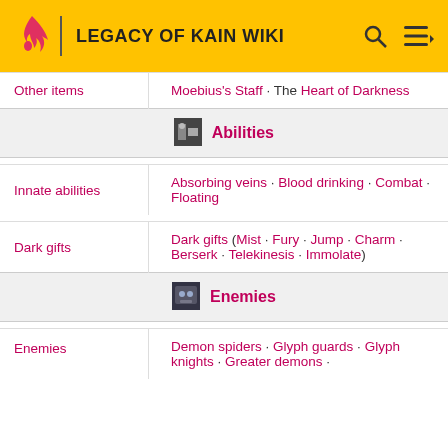LEGACY OF KAIN WIKI
| Other items |  | Moebius's Staff · The Heart of Darkness |
| [ABILITIES SECTION HEADER] |
| Innate abilities |  | Absorbing veins · Blood drinking · Combat · Floating |
| Dark gifts |  | Dark gifts (Mist · Fury · Jump · Charm · Berserk · Telekinesis · Immolate) |
| [ENEMIES SECTION HEADER] |
| Enemies |  | Demon spiders · Glyph guards · Glyph knights · Greater demons · |